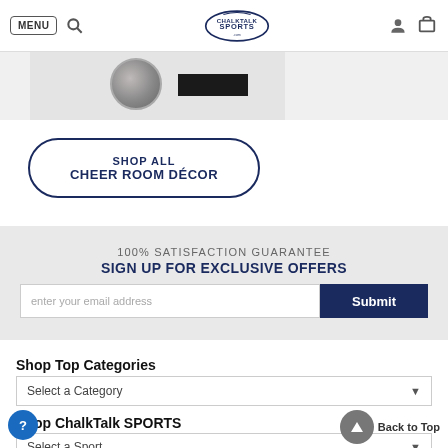MENU | ChalkTalk Sports logo | user icon | cart icon
[Figure (photo): Partial product image showing a coin/medallion and a dark label on a light background]
SHOP ALL
CHEER ROOM DÉCOR
100% SATISFACTION GUARANTEE
SIGN UP FOR EXCLUSIVE OFFERS
enter your email address
Submit
Shop Top Categories
Select a Category
Shop ChalkTalk SPORTS
Select a Sport
Back to Top